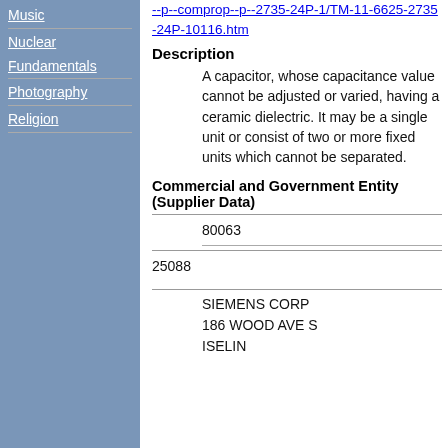Music
Nuclear Fundamentals
Photography
Religion
--p--comprop--p--2735-24P-1/TM-11-6625-2735-24P-10116.htm
Description
A capacitor, whose capacitance value cannot be adjusted or varied, having a ceramic dielectric. It may be a single unit, or consist of two or more fixed units which cannot be separated.
Commercial and Government Entity (Supplier Data)
80063
25088
SIEMENS CORP
186 WOOD AVE S
ISELIN